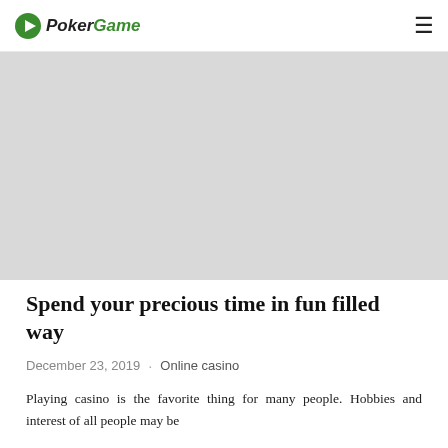PokerGame
[Figure (photo): Large gray placeholder hero image for the article]
Spend your precious time in fun filled way
December 23, 2019 · Online casino
Playing casino is the favorite thing for many people. Hobbies and interest of all people may be